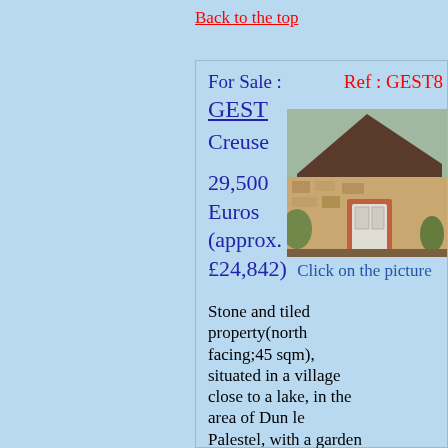Back to the top
For Sale :
GEST
Creuse
Ref : GEST8
29,500 Euros (approx. £24,842)
[Figure (photo): Stone and tiled property exterior, showing stone walls with a sloped roof, a white door, and surrounding vegetation]
Click on the picture
Stone and tiled property(north facing;45 sqm), situated in a village close to a lake, in the area of Dun le Palestel, with a garden area of 50 sqm. Heating :